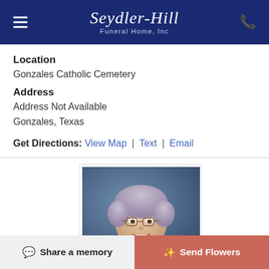Seydler-Hill Funeral Home, Inc
Location
Gonzales Catholic Cemetery
Address
Address Not Available
Gonzales, Texas
Get Directions: View Map | Text | Email
Photo Album
[Figure (photo): Portrait photo of an elderly woman with short grey/lavender hair, glasses, smiling, against a blue background]
Share a memory | Send Flowers